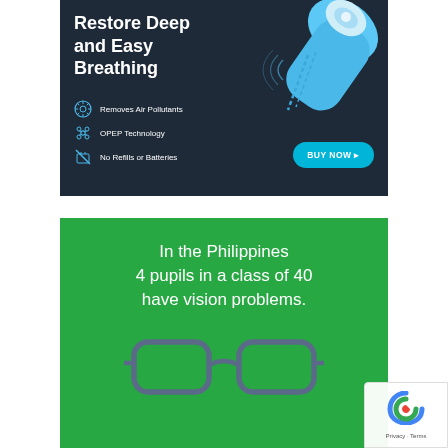[Figure (infographic): Dark navy blue advertisement for a respiratory device (inhaler/OPEP device). Shows a blue handheld device at top right, title 'Restore Deep and Easy Breathing', three feature bullet points: 'Removes Air Pollutants', 'OPEP Technology', 'No Refills or Batteries', and a teal 'BUY NOW ▸' button.]
[Figure (infographic): Green advertisement with white text reading 'In the Philippines 4 pupils in a class of 40 have vision problems.' with an illustration of eyeglasses at the bottom.]